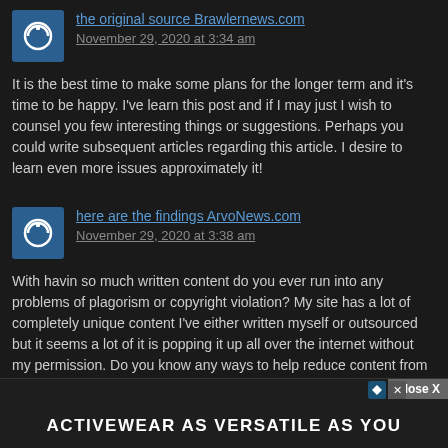the original source Brawlernews.com
November 29, 2020 at 3:34 am
It is the best time to make some plans for the longer term and it's time to be happy. I've learn this post and if I may just I wish to counsel you few interesting things or suggestions. Perhaps you could write subsequent articles regarding this article. I desire to learn even more issues approximately it!
here are the findings ArvoNews.com
November 29, 2020 at 3:38 am
With havin so much written content do you ever run into any problems of plagorism or copyright violation? My site has a lot of completely unique content I've either written myself or outsourced but it seems a lot of it is popping it up all over the internet without my permission. Do you know any ways to help reduce content from being stolen? I'd certainly appreciate it.
straight from the source CallCentreNews.com
November 29, 2020 at 4:17 am
Hi there, your web sit came up, s.
[Figure (other): Advertisement banner: ACTIVEWEAR AS VERSATILE AS YOU with Close X button]